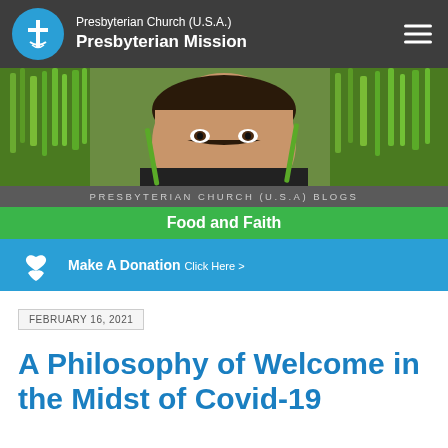Presbyterian Church (U.S.A.) Presbyterian Mission
[Figure (photo): Close-up photo of a person's face peeking over bundles of green grass/rice stalks, outdoor agricultural setting]
PRESBYTERIAN CHURCH (U.S.A) BLOGS
Food and Faith
Make A Donation Click Here >
FEBRUARY 16, 2021
A Philosophy of Welcome in the Midst of Covid-19